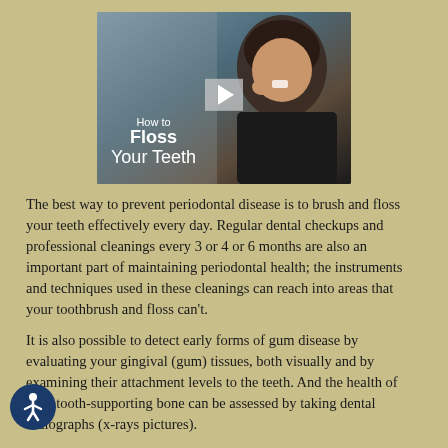[Figure (photo): Video thumbnail showing a woman flossing her teeth, with overlay text reading 'How to Floss Your Teeth' and a play button]
The best way to prevent periodontal disease is to brush and floss your teeth effectively every day. Regular dental checkups and professional cleanings every 3 or 4 or 6 months are also an important part of maintaining periodontal health; the instruments and techniques used in these cleanings can reach into areas that your toothbrush and floss can't.
It is also possible to detect early forms of gum disease by evaluating your gingival (gum) tissues, both visually and by examining their attachment levels to the teeth. And the health of your tooth-supporting bone can be assessed by taking dental radiographs (x-rays pictures).
There are other steps you can take: Eating right, reducing stress in your life, and to...